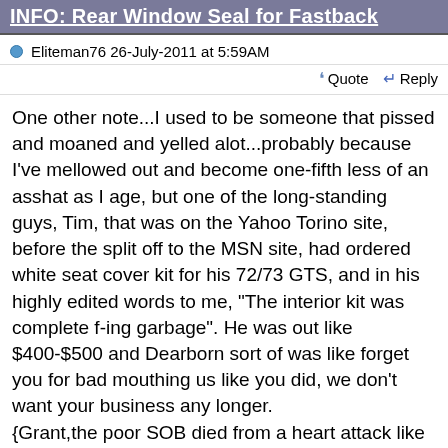INFO: Rear Window Seal for Fastback
Eliteman76 26-July-2011 at 5:59AM
Quote  Reply
One other note...I used to be someone that pissed and moaned and yelled alot...probably because I've mellowed out and become one-fifth less of an asshat as I age, but one of the long-standing guys, Tim, that was on the Yahoo Torino site, before the split off to the MSN site, had ordered white seat cover kit for his 72/73 GTS, and in his highly edited words to me, "The interior kit was complete f-ing garbage". He was out like $400-$500 and Dearborn sort of was like forget you for bad mouthing us like you did, we don't want your business any longer.
{Grant,the poor SOB died from a heart attack like 6 years ago, so it's a moot point now.}